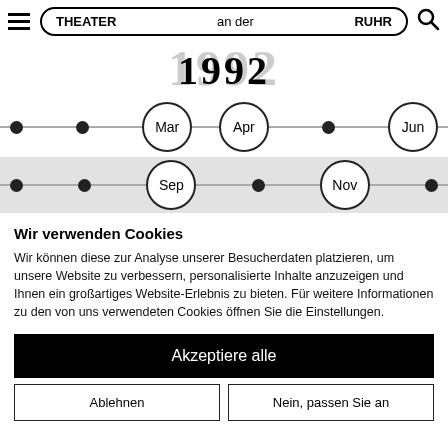THEATER an der RUHR
1992
[Figure (other): Timeline row 1 with months: Mar, Apr, Jun and dot markers]
[Figure (other): Timeline row 2 with months: Sep, Nov and dot markers]
Wir verwenden Cookies
Wir können diese zur Analyse unserer Besucherdaten platzieren, um unsere Website zu verbessern, personalisierte Inhalte anzuzeigen und Ihnen ein großartiges Website-Erlebnis zu bieten. Für weitere Informationen zu den von uns verwendeten Cookies öffnen Sie die Einstellungen.
Akzeptiere alle
Ablehnen
Nein, passen Sie an